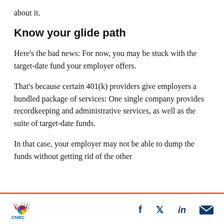about it.
Know your glide path
Here's the bad news: For now, you may be stuck with the target-date fund your employer offers.
That's because certain 401(k) providers give employers a bundled package of services: One single company provides recordkeeping and administrative services, as well as the suite of target-date funds.
In that case, your employer may not be able to dump the funds without getting rid of the other
CNBC logo with Facebook, Twitter, LinkedIn, and email social share icons